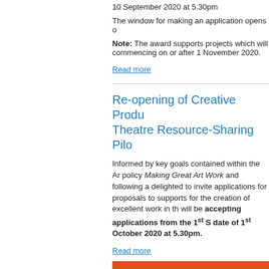10 September 2020 at 5.30pm
The window for making an application opens o
Note: The award supports projects which will commencing on or after 1 November 2020.
Read more
Re-opening of Creative Produ Theatre Resource-Sharing Pilo
Informed by key goals contained within the Ar policy Making Great Art Work and following a delighted to invite applications for proposals to supports for the creation of excellent work in th will be accepting applications from the 1st S date of 1st October 2020 at 5.30pm.
Read more
News from the community
Job Opportunity: COMMUNICA OFFICER